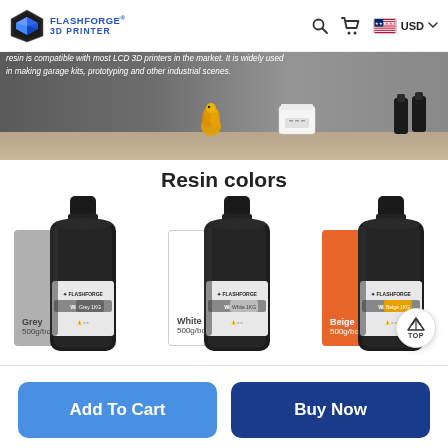FLASHFORGE 3D PRINTER — USD
[Figure (photo): Banner image showing resin 3D printer accessories: a yellow bird figurine, a white Flashforge 3D printer, and dark resin bottles on a desk. Text: 'resin is compatible with most LCD 3D printers in the market. It is widely used in making garage kits, prototyping and other industrial scenes.']
Resin colors
[Figure (photo): Three Flashforge 500g resin bottles in black. Left bottle has a grey color swatch labeled 'Grey 500g/bottle'. Middle bottle has a white color swatch labeled 'White 500g/bottle'. Right bottle has an orange color swatch labeled 'Beige 500g/bottle'. Each bottle has a Flashforge Washable label.]
Grey 500g/bottle
White 500g/bottle
Beige 500g/bottle
Add To Cart
Buy Now